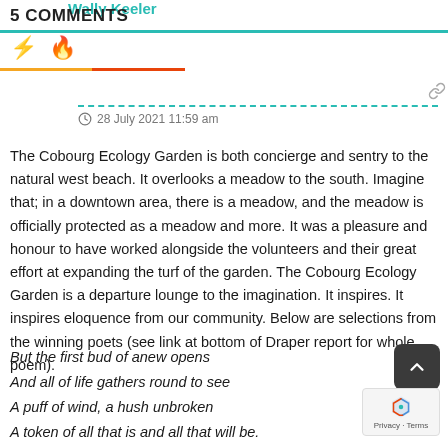5 COMMENTS
Wally Keeler
28 July 2021 11:59 am
The Cobourg Ecology Garden is both concierge and sentry to the natural west beach. It overlooks a meadow to the south. Imagine that; in a downtown area, there is a meadow, and the meadow is officially protected as a meadow and more. It was a pleasure and honour to have worked alongside the volunteers and their great effort at expanding the turf of the garden. The Cobourg Ecology Garden is a departure lounge to the imagination. It inspires. It inspires eloquence from our community. Below are selections from the winning poets (see link at bottom of Draper report for whole poem).
But the first bud of anew opens
And all of life gathers round to see
A puff of wind, a hush unbroken
A token of all that is and all that will be.